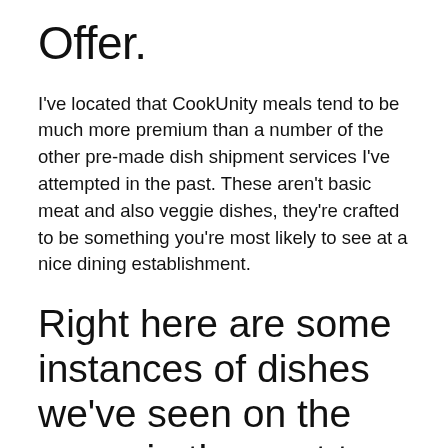Offer.
I've located that CookUnity meals tend to be much more premium than a number of the other pre-made dish shipment services I've attempted in the past. These aren't basic meat and also veggie dishes, they're crafted to be something you're most likely to see at a nice dining establishment.
Right here are some instances of dishes we've seen on the menu in the past to provide you an idea of what you can expect.